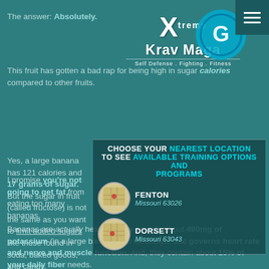The answer: Absolutely.
[Figure (logo): Xtreme Krav Maga logo with circular blue icon, tagline: Self Defense . Fighting . Fitness]
This fruit has gotten a bad rap for being high in sugar calories compared to other fruits.
CHOOSE YOUR NEAREST LOCATION TO SEE AVAILABLE TRAINING OPTIONS AND PROGRAMS
Yes, a large banana has 121 calories and 17 grams of sugar. But the sugar in fruit (called fructose) is not the same as you want to limit added sugars like those found in soda, baked goods, and candy.
FENTON — Missouri 63026
DORSETT — Missouri 63043
I promise you're not going to get fat from eating too many bananas.
Bananas are actually healthy. They contain about 490mg of potassium (in a large banana), an electrolyte that governs heart rate and nerve and muscle function. And, they contain about 15% of your daily fiber needs.